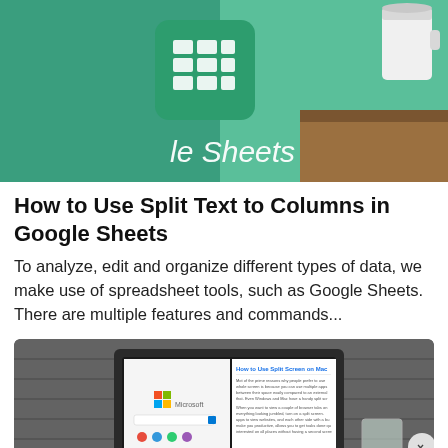[Figure (photo): Google Sheets app icon on a tablet screen with a coffee cup in the background; green background with white grid icon and 'le Sheets' text visible]
How to Use Split Text to Columns in Google Sheets
To analyze, edit and organize different types of data, we make use of spreadsheet tools, such as Google Sheets. There are multiple features and commands...
[Figure (screenshot): Screenshot of a Mac computer showing split screen with Microsoft browser/homepage on left and an article about 'How to Use Split Screen on Mac' on the right; a glass and close button visible]